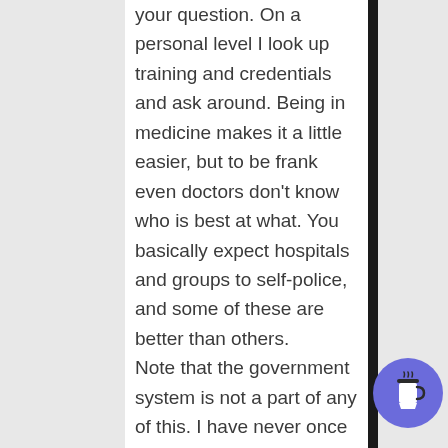your question. On a personal level I look up training and credentials and ask around. Being in medicine makes it a little easier, but to be frank even doctors don't know who is best at what. You basically expect hospitals and groups to self-police, and some of these are better than others.

Note that the government system is not a part of any of this. I have never once checked to
[Figure (illustration): Blue circular button with a coffee cup icon (Buy Me a Coffee widget) in the bottom right corner]